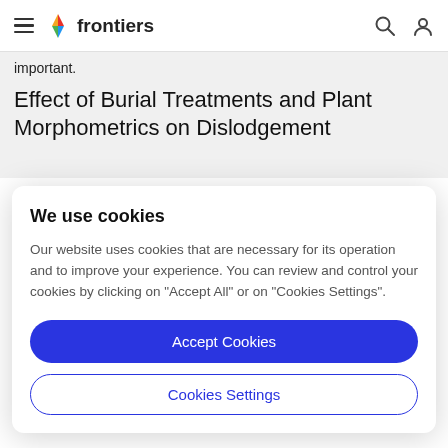frontiers
important.
Effect of Burial Treatments and Plant Morphometrics on Dislodgement
We use cookies
Our website uses cookies that are necessary for its operation and to improve your experience. You can review and control your cookies by clicking on "Accept All" or on "Cookies Settings".
Accept Cookies
Cookies Settings